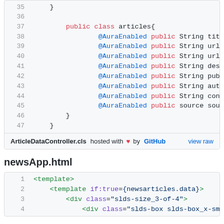[Figure (screenshot): Code block showing Apex class 'articles' with lines 35-47, containing @AuraEnabled public String fields: title, url, urlToImage, description, publishedAt, author, content, source. Footer shows 'ArticleDataController.cls hosted with heart by GitHub' and 'view raw' link.]
newsApp.html
[Figure (screenshot): Code block showing HTML template lines 1-4: <template>, <template if:true={newsarticles.data}>, <div class="slds-size_3-of-4">, <div class="slds-box slds-box_x-small s...]